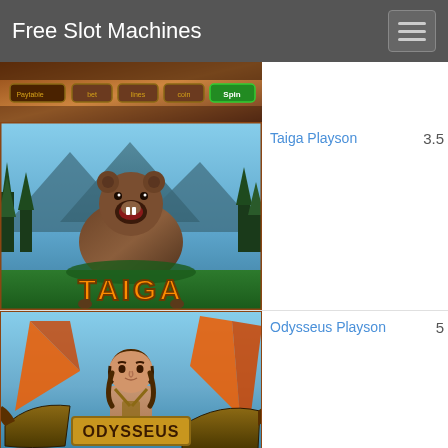Free Slot Machines
[Figure (screenshot): Partial top game slot machine screenshot (cropped, controls visible)]
[Figure (screenshot): Taiga Playson slot machine thumbnail showing a bear roaring in a forest with TAIGA title]
Taiga Playson    3.5
[Figure (screenshot): Odysseus Playson slot machine thumbnail showing Odysseus on a ship with ODYSSEUS title]
Odysseus Playson    5
Pirates Treasures    4.82